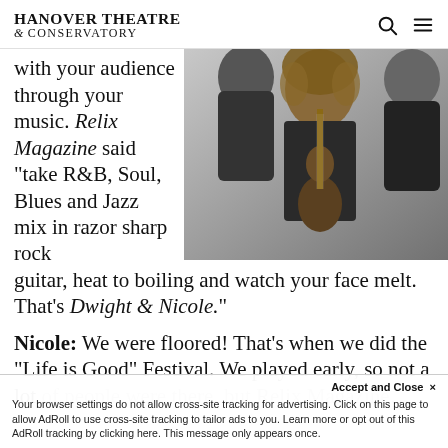HANOVER THEATRE & CONSERVATORY
with your audience through your music. Relix Magazine said “take R&B, Soul, Blues and Jazz mix in razor sharp rock guitar, heat to boiling and watch your face melt. That’s Dwight & Nicole.”
[Figure (photo): Three musicians posing together; a woman with curly hair in the center playing guitar, flanked by two men in black jackets.]
Nicole: We were floored! That’s when we did the “Life is Good” Festival. We played early, so not a lot of people were there, but Relix Magazine…
Accept and Close × Your browser settings do not allow cross-site tracking for advertising. Click on this page to allow AdRoll to use cross-site tracking to tailor ads to you. Learn more or opt out of this AdRoll tracking by clicking here. This message only appears once.